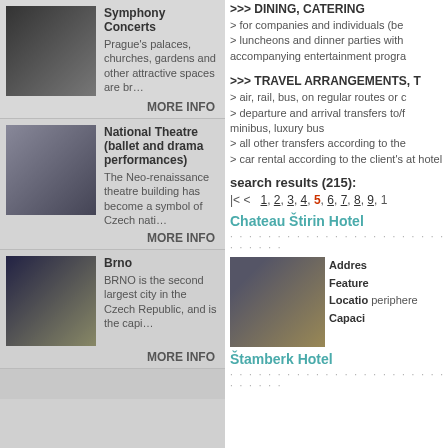Symphony Concerts
Prague's palaces, churches, gardens and other attractive spaces are br…
MORE INFO
National Theatre (ballet and drama performances)
The Neo-renaissance theatre building has become a symbol of Czech nati…
MORE INFO
Brno
BRNO is the second largest city in the Czech Republic, and is the capi…
MORE INFO
>>> DINING, CATERING
> for companies and individuals (be
> luncheons and dinner parties with accompanying entertainment progra
>>> TRAVEL ARRANGEMENTS, T
> air, rail, bus, on regular routes or c
> departure and arrival transfers to/f minibus, luxury bus
> all other transfers according to the
> car rental according to the client's at hotel
search results (215):
|< <  1, 2, 3, 4, 5, 6, 7, 8, 9, 1
Chateau Štirin Hotel
Address
Features
Location periphery
Capaci
Štamberk Hotel